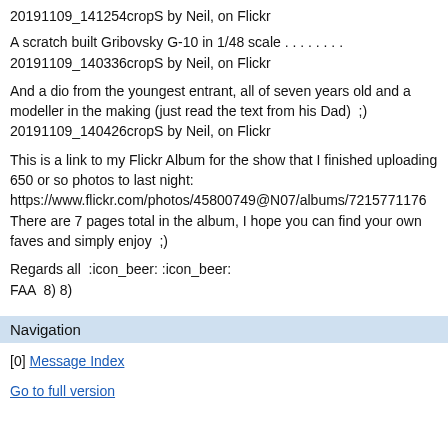20191109_141254cropS by Neil, on Flickr
A scratch built Gribovsky G-10 in 1/48 scale . . . . . . . . 20191109_140336cropS by Neil, on Flickr
And a dio from the youngest entrant, all of seven years old and a modeller in the making (just read the text from his Dad)  ;) 20191109_140426cropS by Neil, on Flickr
This is a link to my Flickr Album for the show that I finished uploading 650 or so photos to last night: https://www.flickr.com/photos/45800749@N07/albums/7215771176 There are 7 pages total in the album, I hope you can find your own faves and simply enjoy  ;)
Regards all  :icon_beer: :icon_beer:
FAA  8) 8)
Navigation
[0] Message Index
Go to full version